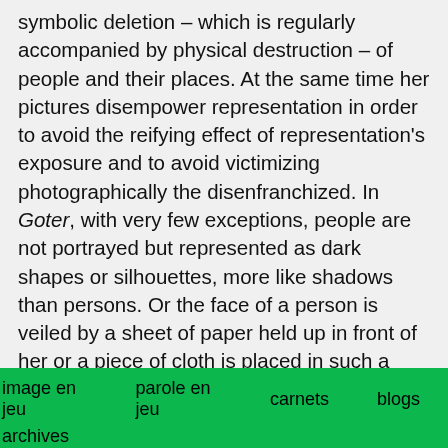symbolic deletion – which is regularly accompanied by physical destruction – of people and their places. At the same time her pictures disempower representation in order to avoid the reifying effect of representation's exposure and to avoid victimizing photographically the disenfranchized. In Goter, with very few exceptions, people are not portrayed but represented as dark shapes or silhouettes, more like shadows than persons. Or the face of a person is veiled by a sheet of paper held up in front of her or a piece of cloth is placed in such a way that it leaves only the person's feet to see. To be very clear it has to
image en jeu    parole en jeu    carnets    blogs
archives